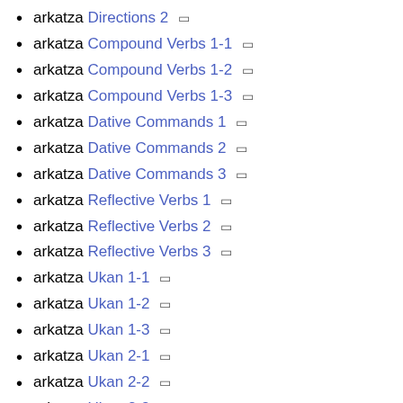arkatza Directions 2 🔗
arkatza Compound Verbs 1-1 🔗
arkatza Compound Verbs 1-2 🔗
arkatza Compound Verbs 1-3 🔗
arkatza Dative Commands 1 🔗
arkatza Dative Commands 2 🔗
arkatza Dative Commands 3 🔗
arkatza Reflective Verbs 1 🔗
arkatza Reflective Verbs 2 🔗
arkatza Reflective Verbs 3 🔗
arkatza Ukan 1-1 🔗
arkatza Ukan 1-2 🔗
arkatza Ukan 1-3 🔗
arkatza Ukan 2-1 🔗
arkatza Ukan 2-2 🔗
arkatza Ukan 2-3 🔗